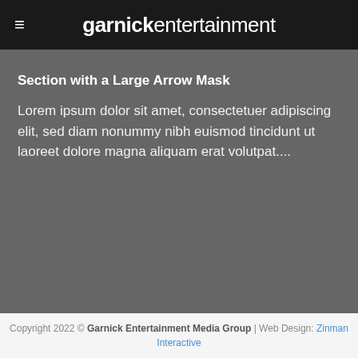garnickentertainment
Section with a Large Arrow Mask
Lorem ipsum dolor sit amet, consectetuer adipiscing elit, sed diam nonummy nibh euismod tincidunt ut laoreet dolore magna aliquam erat volutpat....
Copyright 2022 © Garnick Entertainment Media Group | Web Design: Zinman Interactive